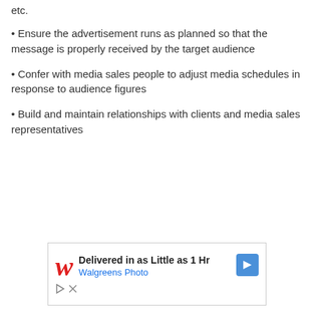etc.
Ensure the advertisement runs as planned so that the message is properly received by the target audience
Confer with media sales people to adjust media schedules in response to audience figures
Build and maintain relationships with clients and media sales representatives
[Figure (screenshot): Walgreens Photo advertisement: 'Delivered in as Little as 1 Hr' with Walgreens cursive W logo and blue navigation arrow icon]